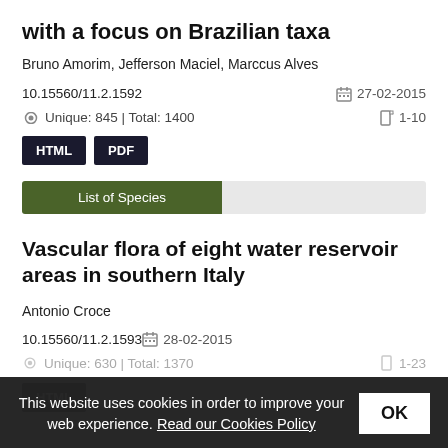with a focus on Brazilian taxa
Bruno Amorim, Jefferson Maciel, Marccus Alves
10.15560/11.2.1592
27-02-2015
Unique: 845 | Total: 1400
1-10
HTML  PDF
List of Species
Vascular flora of eight water reservoir areas in southern Italy
Antonio Croce
10.15560/11.2.1593
28-02-2015
This website uses cookies in order to improve your web experience. Read our Cookies Policy
OK